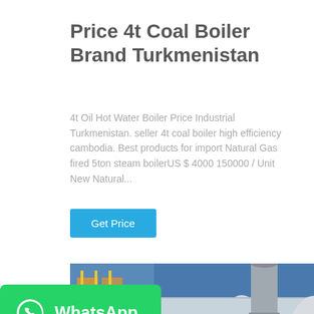Price 4t Coal Boiler Brand Turkmenistan
4t Oil Hot Water Boiler Price Industrial Turkmenistan. seller 4t coal boiler high efficiency cambodia. Best products for import Natural Gas fired 5ton steam boilerUS $ 4000 150000 / Unit New Natural...
Get Price
[Figure (photo): Industrial coal/gas boiler unit in a factory setting, showing large cylindrical boiler vessel with Chinese characters, blue body, stainless steel exhaust pipe, and surrounding industrial equipment and piping.]
[Figure (logo): WhatsApp contact badge with green background, WhatsApp icon on left and 'WhatsApp' text in white on right.]